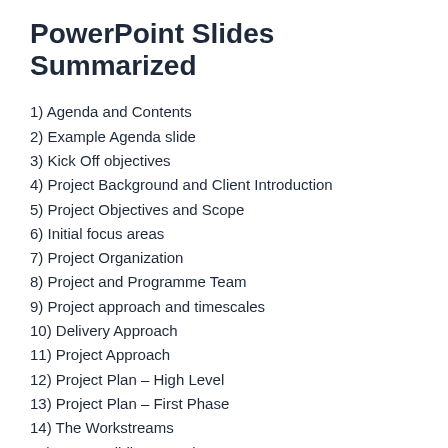PowerPoint Slides Summarized
1) Agenda and Contents
2) Example Agenda slide
3) Kick Off objectives
4) Project Background and Client Introduction
5) Project Objectives and Scope
6) Initial focus areas
7) Project Organization
8) Project and Programme Team
9) Project approach and timescales
10) Delivery Approach
11) Project Approach
12) Project Plan – High Level
13) Project Plan – First Phase
14) The Workstreams
15) Team Building Exercise